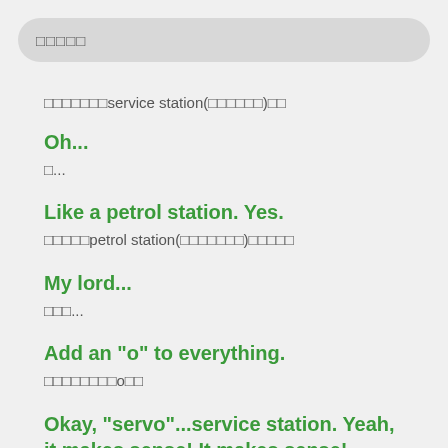□□□□□
□□□□□□□service station(□□□□□□)□□
Oh...
□...
Like a petrol station. Yes.
□□□□□petrol station(□□□□□□□)□□□□□
My lord...
□□□...
Add an "o" to everything.
□□□□□□□□o□□
Okay, "servo"...service station. Yeah, it makes sense! It makes sense!